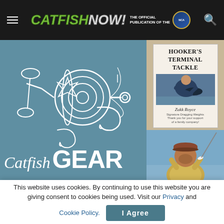CATFISHNOW! — The OFFICIAL PUBLICATION of the NCA
[Figure (illustration): Catfish Gear banner image: left side shows a light blue background with white illustration of a fishing bait-casting reel and fishing hooks, with 'Catfish GEAR' text overlay. Right side shows two photo panels: top panel is a Hooker's Terminal Tackle sign featuring Zukk Royce holding a catfish with text 'Signature Dragging Weights - Thank you for your support of a family company!'; bottom panel shows a man in a cap outdoors.]
This website uses cookies. By continuing to use this website you are giving consent to cookies being used. Visit our Privacy and Cookie Policy.
I Agree